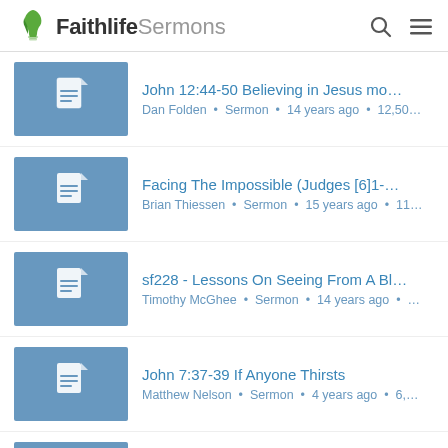Faithlife Sermons
John 12:44-50 Believing in Jesus mo… | Dan Folden • Sermon • 14 years ago • 12,50…
Facing The Impossible (Judges [6]1-… | Brian Thiessen • Sermon • 15 years ago • 11…
sf228 - Lessons On Seeing From A Bl… | Timothy McGhee • Sermon • 14 years ago • …
John 7:37-39 If Anyone Thirsts | Matthew Nelson • Sermon • 4 years ago • 6,…
Transformed Woman at the Well | Paul Tinker • Sermon • 11 years ago • 6,071 …